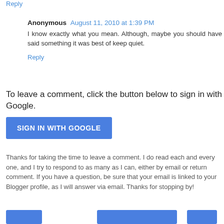Reply
Anonymous  August 11, 2010 at 1:39 PM
I know exactly what you mean. Although, maybe you should have said something it was best of keep quiet.
Reply
To leave a comment, click the button below to sign in with Google.
SIGN IN WITH GOOGLE
Thanks for taking the time to leave a comment. I do read each and every one, and I try to respond to as many as I can, either by email or return comment. If you have a question, be sure that your email is linked to your Blogger profile, as I will answer via email. Thanks for stopping by!